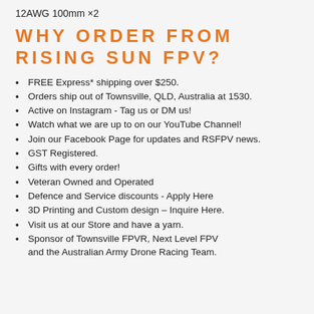12AWG 100mm ×2
WHY ORDER FROM RISING SUN FPV?
FREE Express* shipping over $250.
Orders ship out of Townsville, QLD, Australia at 1530.
Active on Instagram - Tag us or DM us!
Watch what we are up to on our YouTube Channel!
Join our Facebook Page for updates and RSFPV news.
GST Registered.
Gifts with every order!
Veteran Owned and Operated
Defence and Service discounts - Apply Here
3D Printing and Custom design – Inquire Here.
Visit us at our Store and have a yarn.
Sponsor of Townsville FPVR, Next Level FPV and the Australian Army Drone Racing Team.